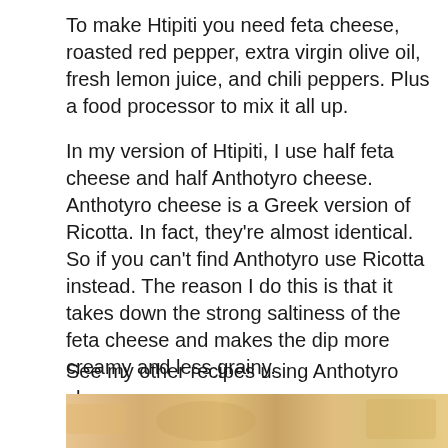To make Htipiti you need feta cheese, roasted red pepper, extra virgin olive oil, fresh lemon juice, and chili peppers. Plus a food processor to mix it all up.
In my version of Htipiti, I use half feta cheese and half Anthotyro cheese. Anthotyro cheese is a Greek version of Ricotta. In fact, they're almost identical. So if you can't find Anthotyro use Ricotta instead. The reason I do this is that it takes down the strong saltiness of the feta cheese and makes the dip more creamy and less grainy.
See my other recipes using Anthotyro cheese:
[Figure (photo): Partial view of a food photo showing what appears to be a dish with warm tones, cropped at the bottom of the page.]